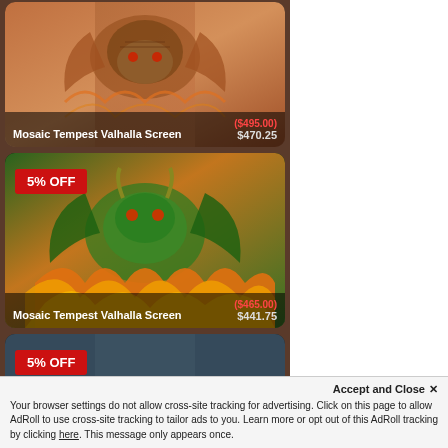[Figure (photo): Product card showing Mosaic Tempest Valhalla Screen with dragon tattoo artwork, priced at ($495.00) sale $470.25]
[Figure (photo): Product card showing Mosaic Tempest Valhalla Screen with dragon and flames artwork, 5% OFF badge, priced at ($465.00) sale $441.75]
[Figure (photo): Product card partially visible with 5% OFF badge at bottom of page]
Accept and Close ✕
Your browser settings do not allow cross-site tracking for advertising. Click on this page to allow AdRoll to use cross-site tracking to tailor ads to you. Learn more or opt out of this AdRoll tracking by clicking here. This message only appears once.